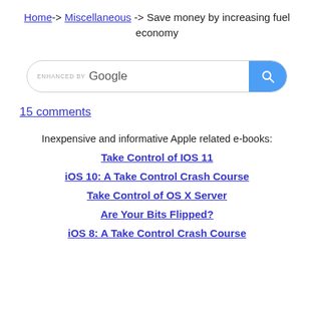Home -> Miscellaneous -> Save money by increasing fuel economy
[Figure (other): Google search bar with search button]
15 comments
Inexpensive and informative Apple related e-books:
Take Control of IOS 11
iOS 10: A Take Control Crash Course
Take Control of OS X Server
Are Your Bits Flipped?
iOS 8: A Take Control Crash Course